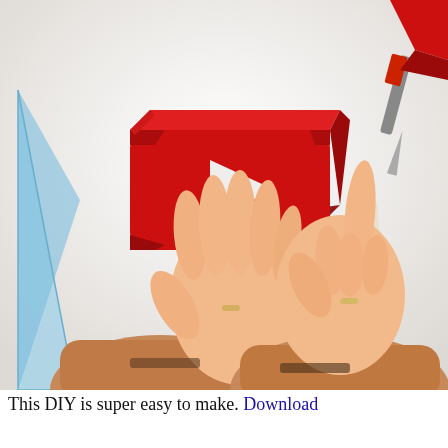[Figure (photo): Overhead view of two hands (wearing rings, sleeves in tan/brown) pressing down on a 3D red paper craft shape resembling the YouTube play button logo, on a white surface. Crafting tools visible: blue set square on left, utility knife and bone folder on right.]
This DIY is super easy to make. Download